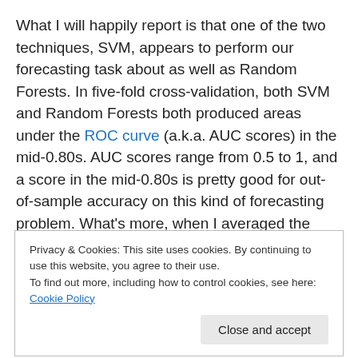What I will happily report is that one of the two techniques, SVM, appears to perform our forecasting task about as well as Random Forests. In five-fold cross-validation, both SVM and Random Forests both produced areas under the ROC curve (a.k.a. AUC scores) in the mid-0.80s. AUC scores range from 0.5 to 1, and a score in the mid-0.80s is pretty good for out-of-sample accuracy on this kind of forecasting problem. What's more, when I averaged the estimates for each case from SVM and Random Forests, I got AUC scores in the mid– to upper 0.80s. That's several
Privacy & Cookies: This site uses cookies. By continuing to use this website, you agree to their use. To find out more, including how to control cookies, see here: Cookie Policy
probabilities. Still, success in one of the two experiments